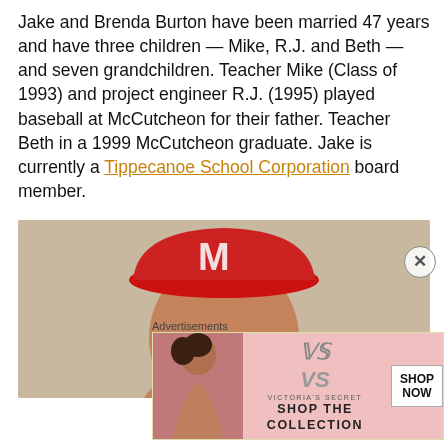Jake and Brenda Burton have been married 47 years and have three children — Mike, R.J. and Beth — and seven grandchildren. Teacher Mike (Class of 1993) and project engineer R.J. (1995) played baseball at McCutcheon for their father. Teacher Beth in a 1999 McCutcheon graduate. Jake is currently a Tippecanoe School Corporation board member.
[Figure (photo): Close-up photo of an older man wearing a red baseball cap with a white logo, and glasses, against a light beige background.]
Advertisements
[Figure (photo): Victoria's Secret advertisement banner showing a woman on the left, VS logo and brand name in the center, and 'SHOP THE COLLECTION' text with a 'SHOP NOW' button on the right.]